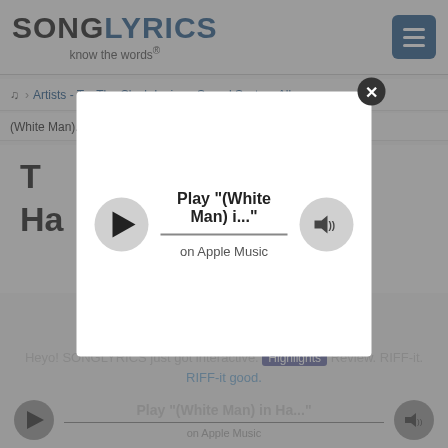[Figure (screenshot): SongLyrics website header with logo 'SONGLYRICS know the words' and hamburger menu button]
Artists - T  >  The Clash Lyrics  >  Sound System Album
(White Man)...
T... n Ha... e)
[Figure (screenshot): Apple Music modal popup showing Play button, song title 'Play "(White Man) i..."' on Apple Music, with volume button and close X button]
Play "(White Man) i..."
on Apple Music
Heyo! SONGLYRICS just got interactive. Highlights Review. RIFF-it. RIFF-it good.
Play "(White Man) in Ha..."
on Apple Music